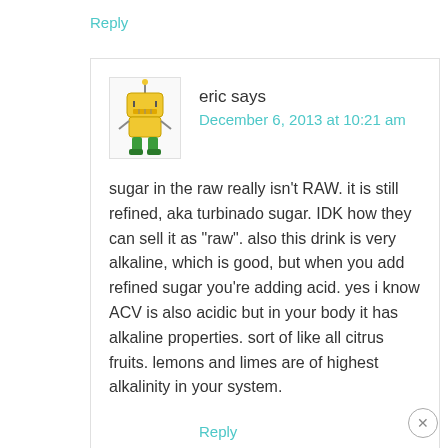Reply
[Figure (illustration): Robot/alien cartoon avatar — yellow robot with antenna standing on green legs]
eric says
December 6, 2013 at 10:21 am
sugar in the raw really isn’t RAW. it is still refined, aka turbinado sugar. IDK how they can sell it as “raw”. also this drink is very alkaline, which is good, but when you add refined sugar you’re adding acid. yes i know ACV is also acidic but in your body it has alkaline properties. sort of like all citrus fruits. lemons and limes are of highest alkalinity in your system.
Reply